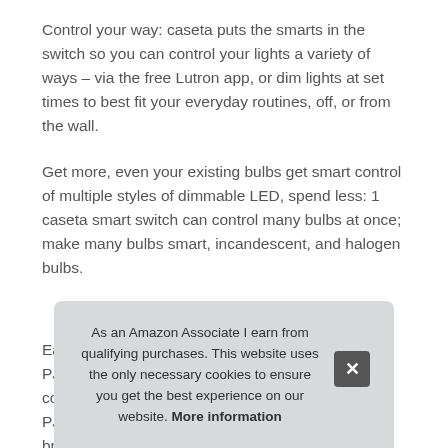Control your way: caseta puts the smarts in the switch so you can control your lights a variety of ways – via the free Lutron app, or dim lights at set times to best fit your everyday routines, off, or from the wall.
Get more, even your existing bulbs get smart control of multiple styles of dimmable LED, spend less: 1 caseta smart switch can control many bulbs at once; make many bulbs smart, incandescent, and halogen bulbs.
More information #ad
Easy 3-way setup: use with caseta wall mount Kit PJ2-WALL-WH...
As an Amazon Associate I earn from qualifying purchases. This website uses the only necessary cookies to ensure you get the best experience on our website. More information